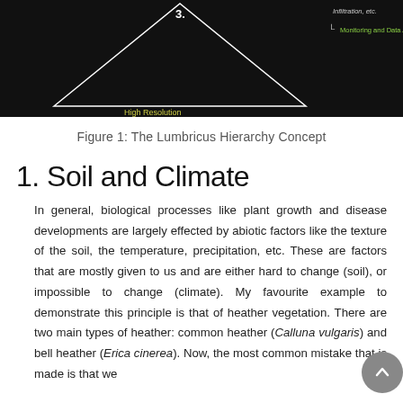[Figure (illustration): Partial view of the Lumbricus Hierarchy Concept diagram — a triangle on a black background with the number 3 at the top, 'High Resolution' label in yellow-green at the bottom center, and right-side labels including italicized text about infiltration and 'Monitoring and Data Analysis' in green.]
Figure 1: The Lumbricus Hierarchy Concept
1. Soil and Climate
In general, biological processes like plant growth and disease developments are largely effected by abiotic factors like the texture of the soil, the temperature, precipitation, etc. These are factors that are mostly given to us and are either hard to change (soil), or impossible to change (climate). My favourite example to demonstrate this principle is that of heather vegetation. There are two main types of heather: common heather (Calluna vulgaris) and bell heather (Erica cinerea). Now, the most common mistake that is made is that we